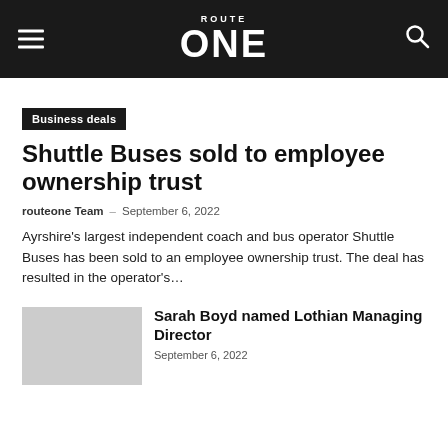ROUTE ONE
Business deals
Shuttle Buses sold to employee ownership trust
routeone Team – September 6, 2022
Ayrshire's largest independent coach and bus operator Shuttle Buses has been sold to an employee ownership trust. The deal has resulted in the operator's...
Sarah Boyd named Lothian Managing Director
September 6, 2022